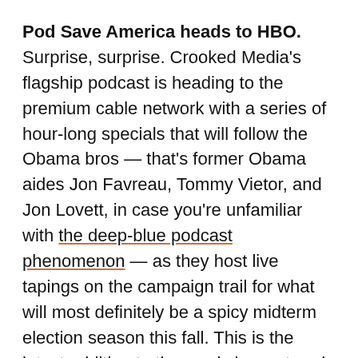Pod Save America heads to HBO. Surprise, surprise. Crooked Media's flagship podcast is heading to the premium cable network with a series of hour-long specials that will follow the Obama bros — that's former Obama aides Jon Favreau, Tommy Vietor, and Jon Lovett, in case you're unfamiliar with the deep-blue podcast phenomenon — as they host live tapings on the campaign trail for what will most definitely be a spicy midterm election season this fall. This is the latest addition to the newly buzzy trend of podcasts being adapted for film and television, and the deal for this adaptation in particular was handled by WME.
Over at Vulture, I tried to turn a series of dots into a